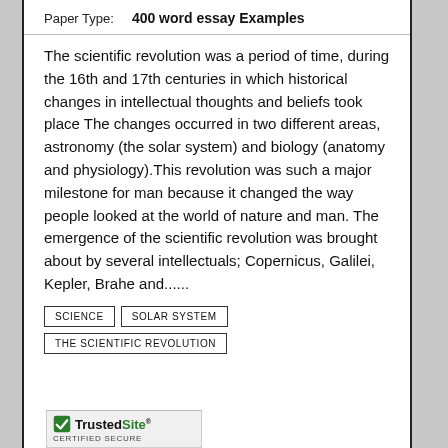Paper Type:   400 word essay Examples
The scientific revolution was a period of time, during the 16th and 17th centuries in which historical changes in intellectual thoughts and beliefs took place The changes occurred in two different areas, astronomy (the solar system) and biology (anatomy and physiology).This revolution was such a major milestone for man because it changed the way people looked at the world of nature and man. The emergence of the scientific revolution was brought about by several intellectuals; Copernicus, Galilei, Kepler, Brahe and......
SCIENCE
SOLAR SYSTEM
THE SCIENTIFIC REVOLUTION